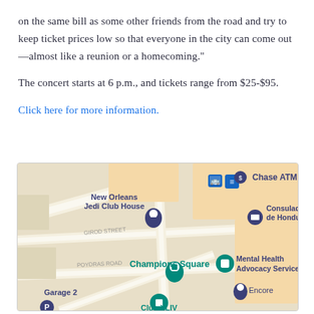on the same bill as some other friends from the road and try to keep ticket prices low so that everyone in the city can come out—almost like a reunion or a homecoming."
The concert starts at 6 p.m., and tickets range from $25-$95.
Click here for more information.
[Figure (map): Google Maps screenshot showing Champions Square area in New Orleans, with map pins for: New Orleans Jedi Club House (purple pin), Chase ATM (blue icon), Consulado General de Honduras en New... (purple pin), Champions Square (teal pin), Mental Health Advocacy Services (teal icon), Encore (purple pin), Garage 2 (purple P pin), Club XLIV (teal icon)]